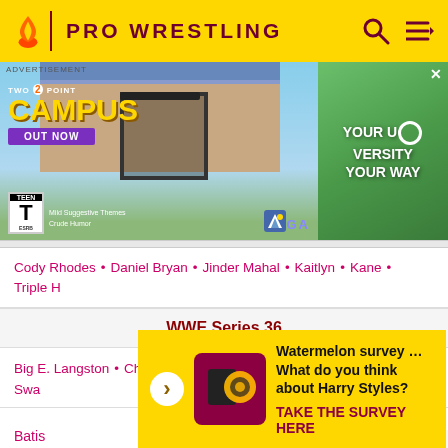PRO WRESTLING
[Figure (screenshot): Advertisement banner for Two Point Campus video game by SEGA. Shows game characters, a campus building background, 'OUT NOW' button, ESRB Teen rating, and text 'YOUR UNIVERSITY YOUR WAY' on the right side.]
Cody Rhodes • Daniel Bryan • Jinder Mahal • Kaitlyn • Kane • Triple H
WWE Series 36
Big E. Langston • Christian • CM Punk • Fandango • Jack Swagger • Kaith...
Watermelon survey … What do you think about Harry Styles? TAKE THE SURVEY HERE
Batista